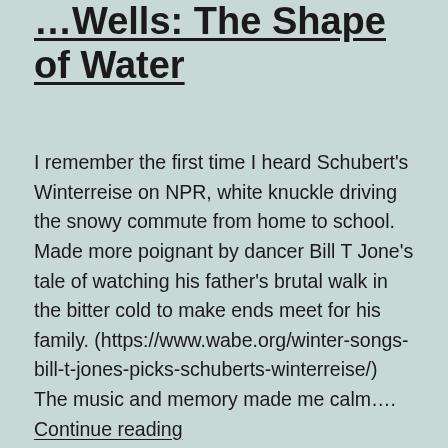...Wells: The Shape of Water
I remember the first time I heard Schubert's Winterreise on NPR, white knuckle driving the snowy commute from home to school. Made more poignant by dancer Bill T Jone's tale of watching his father's brutal walk in the bitter cold to make ends meet for his family. (https://www.wabe.org/winter-songs-bill-t-jones-picks-schuberts-winterreise/) The music and memory made me calm…. Continue reading